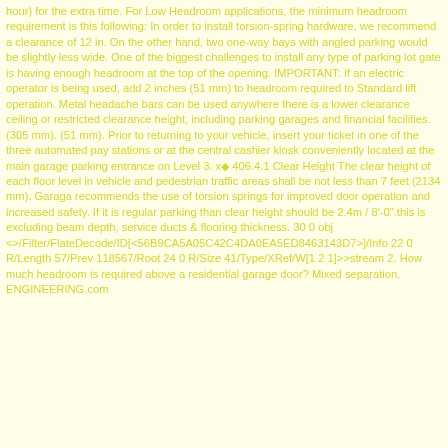hour) for the extra time. For Low Headroom applications, the minimum headroom requirement is this following: In order to install torsion-spring hardware, we recommend a clearance of 12 in. On the other hand, two one-way bays with angled parking would be slightly less wide. One of the biggest challenges to install any type of parking lot gate is having enough headroom at the top of the opening. IMPORTANT: If an electric operator is being used, add 2 inches (51 mm) to headroom required to Standard lift operation. Metal headache bars can be used anywhere there is a lower clearance ceiling or restricted clearance height, including parking garages and financial facilities. (305 mm). (51 mm). Prior to returning to your vehicle, insert your ticket in one of the three automated pay stations or at the central cashier kiosk conveniently located at the main garage parking entrance on Level 3. x◆ 406.4.1 Clear Height The clear height of each floor level in vehicle and pedestrian traffic areas shall be not less than 7 feet (2134 mm). Garaga recommends the use of torsion springs for improved door operation and increased safety. If it is regular parking than clear height should be 2.4m / 8'-0".this is excluding beam depth, service ducts & flooring thickness. 30 0 obj <>/Filter/FlateDecode/ID[<56B9CA5A05C42C4DA0EA5ED8463143D7>]/Info 22 0 R/Length 57/Prev 118567/Root 24 0 R/Size 41/Type/XRef/W[1 2 1]>>stream 2. How much headroom is required above a residential garage door? Mixed separation. ENGINEERING.com